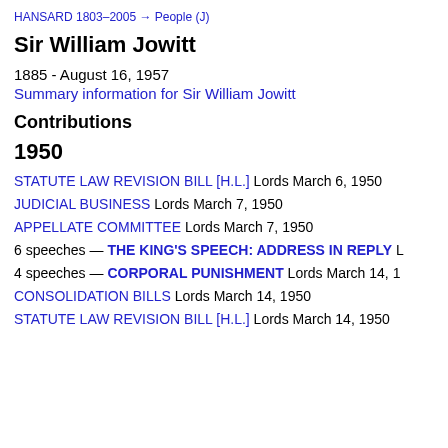HANSARD 1803–2005 → People (J)
Sir William Jowitt
1885 - August 16, 1957
Summary information for Sir William Jowitt
Contributions
1950
STATUTE LAW REVISION BILL [H.L.] Lords March 6, 1950
JUDICIAL BUSINESS Lords March 7, 1950
APPELLATE COMMITTEE Lords March 7, 1950
6 speeches — THE KING'S SPEECH: ADDRESS IN REPLY L
4 speeches — CORPORAL PUNISHMENT Lords March 14, 1
CONSOLIDATION BILLS Lords March 14, 1950
STATUTE LAW REVISION BILL [H.L.] Lords March 14, 1950